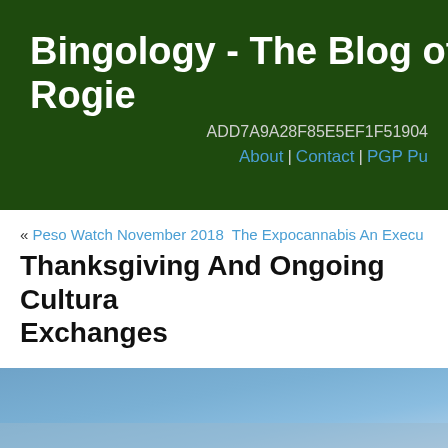Bingology - The Blog of A Rogie
ADD7A9A28F85E5EF1F51904
About | Contact | PGP Pu
« Peso Watch November 2018  The Expocannabis An Execu
Thanksgiving And Ongoing Cultural Exchanges
Let us look at where this city used to be:
[Figure (photo): Blue gradient map image, partially visible at bottom of page]